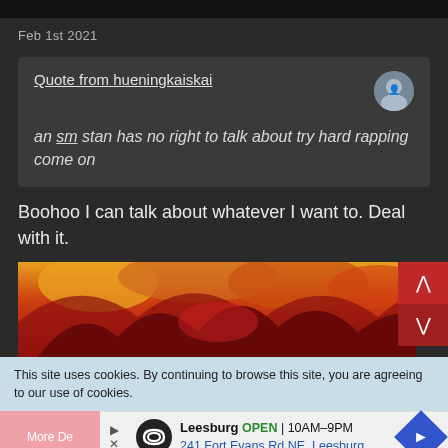Feb 1st 2021
Quote from hueningkaiskai
an sm stan has no right to talk about try hard rapping
come on
Boohoo I can talk about whatever I want to. Deal with it.
[Figure (illustration): Anime character with orange/red hair and fiery colors]
This site uses cookies. By continuing to browse this site, you are agreeing to our use of cookies.
Leesburg OPEN 10AM-9PM 241 Fort Evans Rd NE, Leesburg